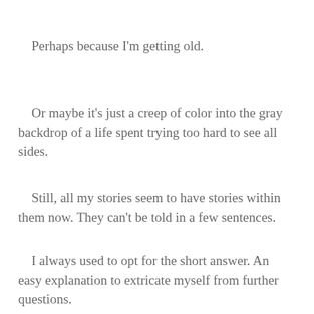Perhaps because I'm getting old.
Or maybe it's just a creep of color into the gray backdrop of a life spent trying too hard to see all sides.
Still, all my stories seem to have stories within them now. They can't be told in a few sentences.
I always used to opt for the short answer. An easy explanation to extricate myself from further questions.